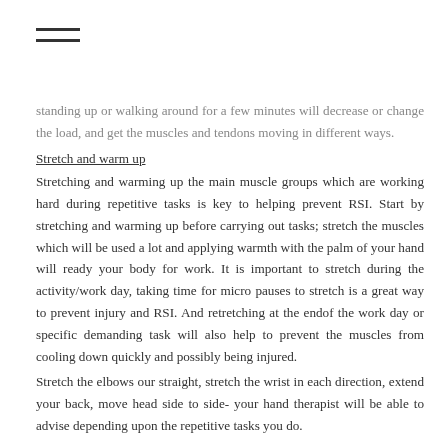≡ (menu icon)
standing up or walking around for a few minutes will decrease or change the load, and get the muscles and tendons moving in different ways.
Stretch and warm up
Stretching and warming up the main muscle groups which are working hard during repetitive tasks is key to helping prevent RSI. Start by stretching and warming up before carrying out tasks; stretch the muscles which will be used a lot and applying warmth with the palm of your hand will ready your body for work. It is important to stretch during the activity/work day, taking time for micro pauses to stretch is a great way to prevent injury and RSI. And retretching at the endof the work day or specific demanding task will also help to prevent the muscles from cooling down quickly and possibly being injured.
Stretch the elbows our straight, stretch the wrist in each direction, extend your back, move head side to side- your hand therapist will be able to advise depending upon the repetitive tasks you do.